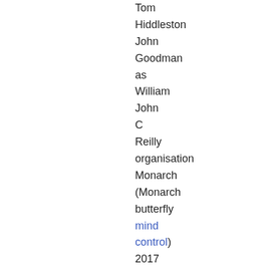Tom Hiddleston John Goodman as William John C Reilly organisation Monarch (Monarch butterfly mind control) 2017